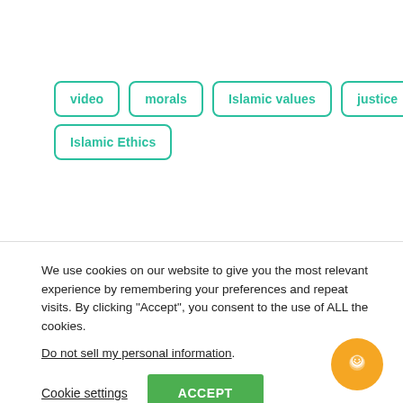video
morals
Islamic values
justice
Islamic Ethics
We use cookies on our website to give you the most relevant experience by remembering your preferences and repeat visits. By clicking “Accept”, you consent to the use of ALL the cookies.
Do not sell my personal information.
Cookie settings
ACCEPT